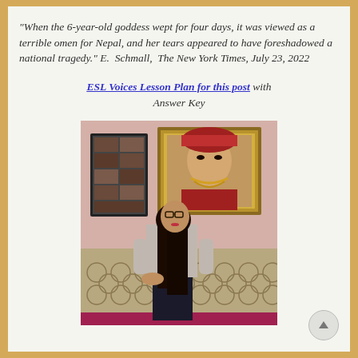“When the 6-year-old goddess wept for four days, it was viewed as a terrible omen for Nepal, and her tears appeared to have foreshadowed a national tragedy.” E. Schmall, The New York Times, July 23, 2022
ESL Voices Lesson Plan for this post with Answer Key
[Figure (photo): A woman with long dark hair and glasses sits on a sofa with a patterned fabric, in front of a pink wall with framed photographs and artwork of a Kumari (living goddess) in traditional costume.]